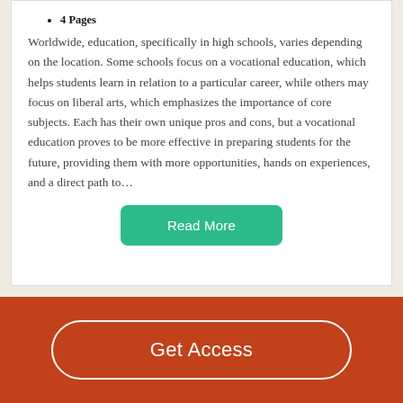4 Pages
Worldwide, education, specifically in high schools, varies depending on the location. Some schools focus on a vocational education, which helps students learn in relation to a particular career, while others may focus on liberal arts, which emphasizes the importance of core subjects. Each has their own unique pros and cons, but a vocational education proves to be more effective in preparing students for the future, providing them with more opportunities, hands on experiences, and a direct path to…
Read More
Decent Essays
Get Access